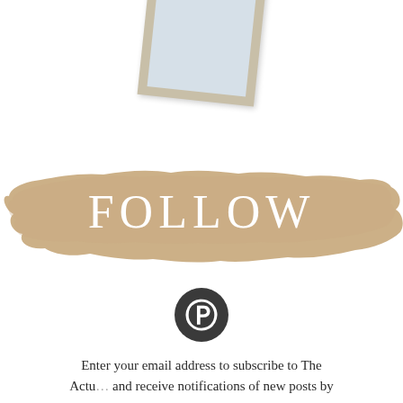[Figure (illustration): A tilted picture frame with a light gray interior and beige/tan wooden frame, rotated slightly clockwise, visible at the top of the page.]
[Figure (illustration): A tan/beige paint brush stroke banner background with the word FOLLOW written in white serif capital letters centered on the stroke.]
[Figure (logo): Pinterest logo: a dark gray/charcoal circular icon with the white Pinterest 'P' symbol inside.]
Enter your email address to subscribe to The Actu... and receive notifications of new posts by